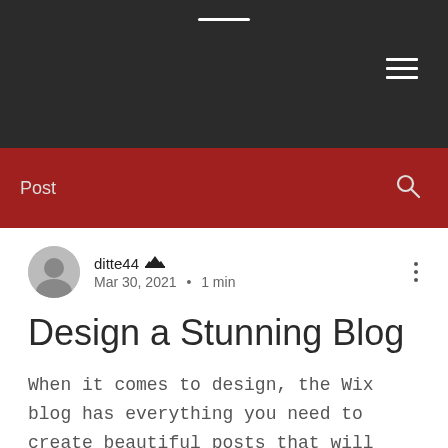Navigation bar with hamburger menu
Post
ditte44 · Mar 30, 2021 · 1 min
Design a Stunning Blog
When it comes to design, the Wix blog has everything you need to create beautiful posts that will grab your reader's attention. Check out our essential design features.